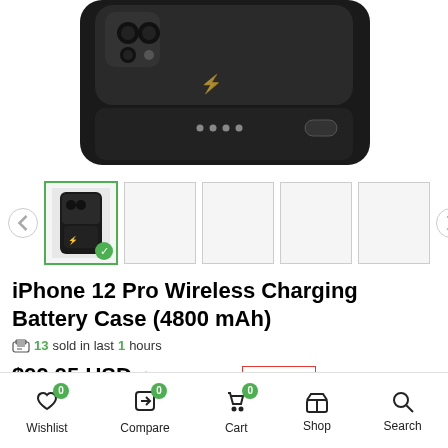[Figure (photo): iPhone 12 Pro Wireless Charging Battery Case product photo showing the back of a black phone case with battery pack attached, including LED dots and a power button ridge.]
[Figure (photo): Thumbnail gallery row with 5 thumbnails. First thumbnail is selected (green border with checkmark) showing the device from the back. Remaining 4 thumbnails are blank/grey. Left and right navigation arrows on sides.]
iPhone 12 Pro Wireless Charging Battery Case (4800 mAh)
13 sold in last 1 hours
$99.95 USD  $149.95 USD  save 33%
Tax included.
Wishlist 0  Compare 0  Cart 0  Shop  Search